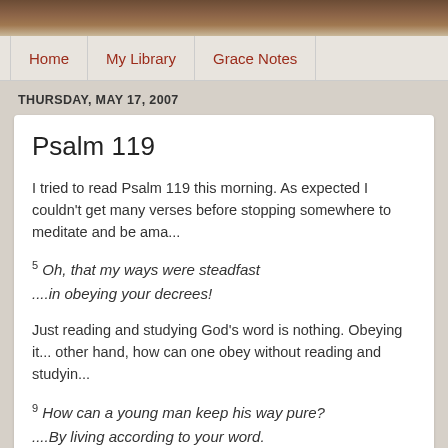[Figure (photo): Top banner image showing a wooden surface, brownish tones]
Home | My Library | Grace Notes
THURSDAY, MAY 17, 2007
Psalm 119
I tried to read Psalm 119 this morning. As expected I couldn't get many verses before stopping somewhere to meditate and be ama...
5 Oh, that my ways were steadfast
....in obeying your decrees!
Just reading and studying God's word is nothing. Obeying it... other hand, how can one obey without reading and studyin...
9 How can a young man keep his way pure?
....By living according to your word.